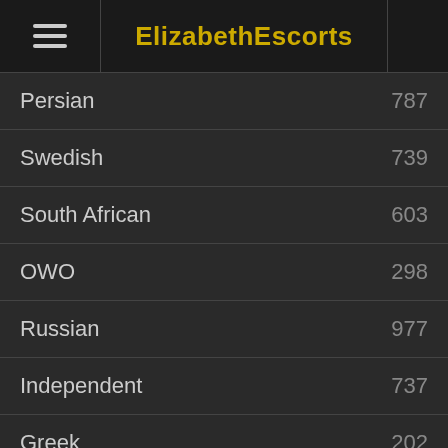ElizabethEscorts
Persian 787
Swedish 739
South African 603
OWO 298
Russian 977
Independent 737
Greek 202
Nigerian 245